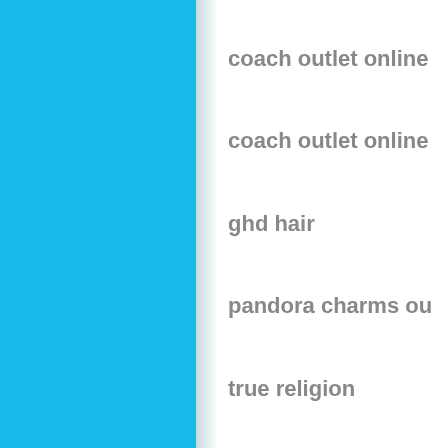[Figure (illustration): Solid sky-blue rectangle occupying the left side of the page]
coach outlet online
coach outlet online
ghd hair
pandora charms ou
true religion